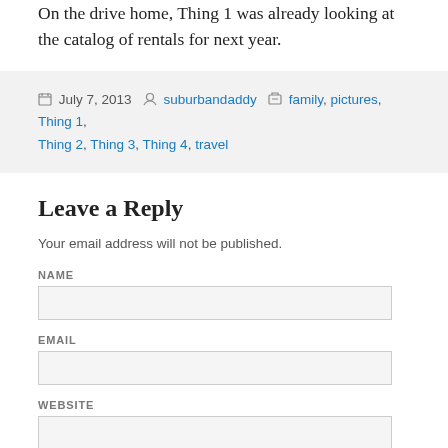On the drive home, Thing 1 was already looking at the catalog of rentals for next year.
Posted July 7, 2013  by suburbandaddy  Categories family, pictures, Thing 1, Thing 2, Thing 3, Thing 4, travel
Leave a Reply
Your email address will not be published.
NAME
EMAIL
WEBSITE